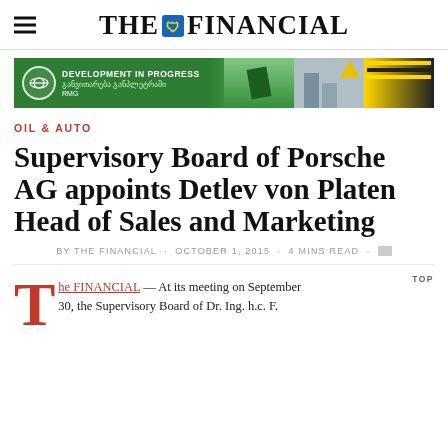THE FINANCIAL
[Figure (infographic): Green RMG advertisement banner: 'DEVELOPMENT IN PROGRESS' with Georgian text and construction imagery on the right]
OIL & AUTO
Supervisory Board of Porsche AG appoints Detlev von Platen Head of Sales and Marketing
BY THE FINANCIAL · OCTOBER 1, 2015 · 4 MINS READ
The FINANCIAL — At its meeting on September 30, the Supervisory Board of Dr. Ing. h.c. F.